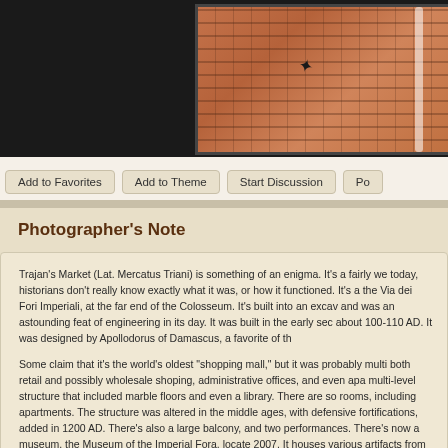[Figure (photo): Cropped photo of Trajan's Market brick wall detail, shown against a dark background]
Add to Favorites | Add to Theme | Start Discussion | Po...
Photographer's Note
Trajan's Market (Lat. Mercatus Triani) is something of an enigma. It's a fairly we today, historians don't really know exactly what it was, or how it functioned. It's a the Via dei Fori Imperiali, at the far end of the Colosseum. It's built into an excav and was an astounding feat of engineering in its day. It was built in the early sec about 100-110 AD. It was designed by Apollodorus of Damascus, a favorite of th

Some claim that it's the world's oldest "shopping mall," but it was probably multi both retail and possibly wholesale shoping, administrative offices, and even apa multi-level structure that included marble floors and even a library. There are so rooms, including apartments. The structure was altered in the middle ages, with defensive fortifications, added in 1200 AD. There's also a large balcony, and two performances. There's now a museum, the Museum of the Imperial Fora, locate 2007. It houses various artifacts from Rome's many fora.